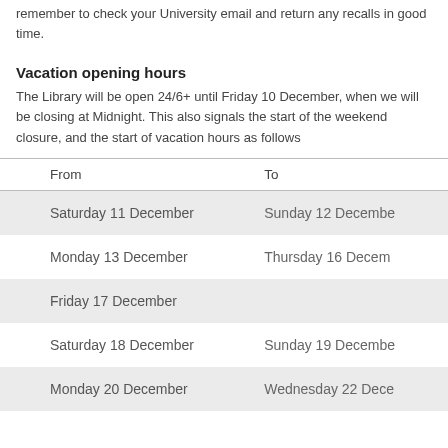remember to check your University email and return any recalls in good time.
Vacation opening hours
The Library will be open 24/6+ until Friday 10 December, when we will be closing at Midnight. This also signals the start of the weekend closure, and the start of vacation hours as follows
| From | To |
| --- | --- |
| Saturday 11 December | Sunday 12 December |
| Monday 13 December | Thursday 16 December |
| Friday 17 December |  |
| Saturday 18 December | Sunday 19 December |
| Monday 20 December | Wednesday 22 December |